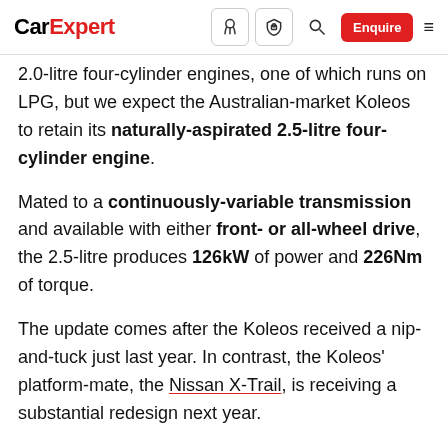CarExpert [nav icons] Enquire
2.0-litre four-cylinder engines, one of which runs on LPG, but we expect the Australian-market Koleos to retain its naturally-aspirated 2.5-litre four-cylinder engine.
Mated to a continuously-variable transmission and available with either front- or all-wheel drive, the 2.5-litre produces 126kW of power and 226Nm of torque.
The update comes after the Koleos received a nip-and-tuck just last year. In contrast, the Koleos' platform-mate, the Nissan X-Trail, is receiving a substantial redesign next year.